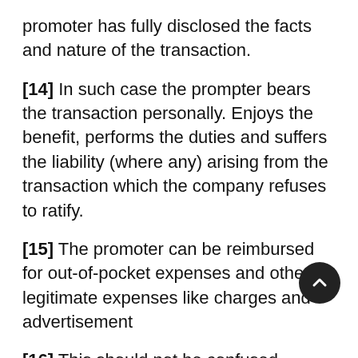promoter has fully disclosed the facts and nature of the transaction.
[14] In such case the prompter bears the transaction personally. Enjoys the benefit, performs the duties and suffers the liability (where any) arising from the transaction which the company refuses to ratify.
[15] The promoter can be reimbursed for out-of-pocket expenses and other legitimate expenses like charges and advertisement
[16] This should not be confused with provisional contracts which are